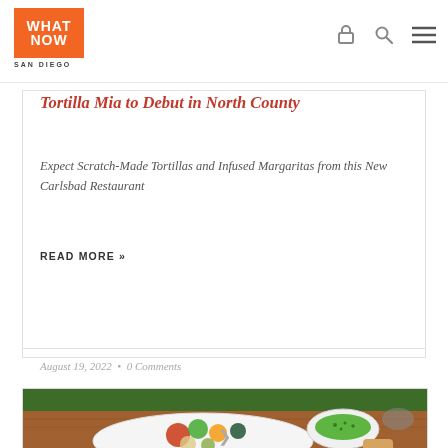WHAT NOW SAN DIEGO
Tortilla Mia to Debut in North County
Expect Scratch-Made Tortillas and Infused Margaritas from this New Carlsbad Restaurant
READ MORE »
August 19, 2022  •  0 Comments
[Figure (photo): Food photo showing a plate with colorful vegetables, proteins, and a small bowl of green sauce, on a wooden table with green mat background]